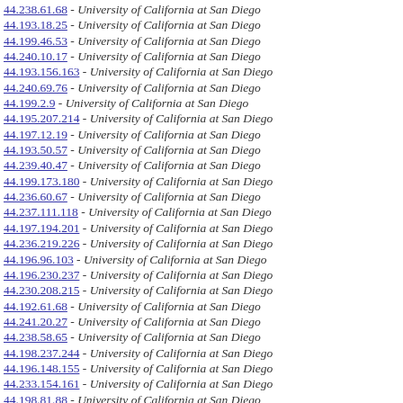44.238.61.68 - University of California at San Diego
44.193.18.25 - University of California at San Diego
44.199.46.53 - University of California at San Diego
44.240.10.17 - University of California at San Diego
44.193.156.163 - University of California at San Diego
44.240.69.76 - University of California at San Diego
44.199.2.9 - University of California at San Diego
44.195.207.214 - University of California at San Diego
44.197.12.19 - University of California at San Diego
44.193.50.57 - University of California at San Diego
44.239.40.47 - University of California at San Diego
44.199.173.180 - University of California at San Diego
44.236.60.67 - University of California at San Diego
44.237.111.118 - University of California at San Diego
44.197.194.201 - University of California at San Diego
44.236.219.226 - University of California at San Diego
44.196.96.103 - University of California at San Diego
44.196.230.237 - University of California at San Diego
44.230.208.215 - University of California at San Diego
44.192.61.68 - University of California at San Diego
44.241.20.27 - University of California at San Diego
44.238.58.65 - University of California at San Diego
44.198.237.244 - University of California at San Diego
44.196.148.155 - University of California at San Diego
44.233.154.161 - University of California at San Diego
44.198.81.88 - University of California at San Diego
44.238.150.157 - University of California at San Diego
44.242.62.69 - University of California at San Diego
44.196.159.166 - University of California at San Diego
44.196.179.186 - University of California at San Diego